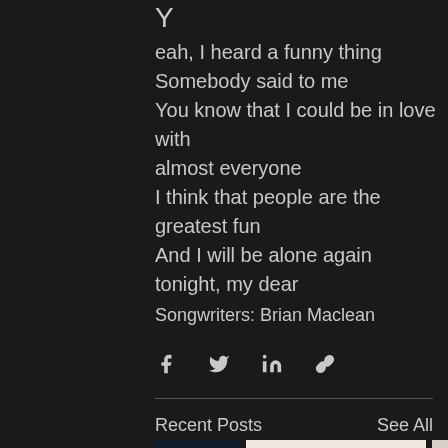Y
eah, I heard a funny thing
Somebody said to me
You know that I could be in love with almost everyone
I think that people are the greatest fun
And I will be alone again tonight, my dear
Songwriters: Brian Maclean
[Figure (infographic): Social sharing icons: Facebook (f), Twitter (bird), LinkedIn (in), Link (chain)]
Recent Posts
See All
[Figure (photo): Three thumbnail images at the bottom: dark blue/moody on the left, band performing in a light room in the center (drummer visible with orange cymbal), portrait on the right]